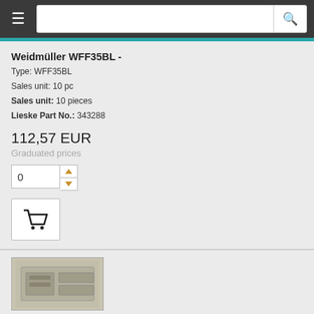Navigation bar with hamburger menu and search box
Weidmüller WFF35BL -
Type: WFF35BL
Sales unit: 10 pc
Sales unit: 10 pieces
Lieske Part No.: 343288
112,57 EUR
Graduated prices
[Figure (other): Product thumbnail image of Weidmuller terminal component]
1028400000
Weidmüller WFF70 - Flat Weidmuller terminal 70 ² WFF 70 beige wemid
Type: WFF70
Sales unit: 10 pc
Sales unit: 10 pieces
Lieske Part No.: 811767
147,85 EUR
Graduated prices